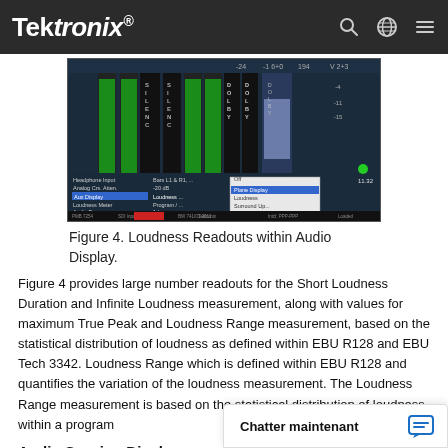Tektronix
[Figure (screenshot): Screenshot of Tektronix audio display showing loudness readouts with green bar meters, SILENCE labels, DOLBY labels, and a settings menu with options including Aux Display set to Loudness, Loudness Meter set to Program, Audio Program, and Audio Input set to Embedded.]
Figure 4. Loudness Readouts within Audio Display.
Figure 4 provides large number readouts for the Short Loudness Duration and Infinite Loudness measurement, along with values for maximum True Peak and Loudness Range measurement, based on the statistical distribution of loudness as defined within EBU R128 and EBU Tech 3342. Loudness Range which is defined within EBU R128 and quantifies the variation of the loudness measurement. The Loudness Range measurement is based on the statistical distribution of loudness within a program
Audio Session Display